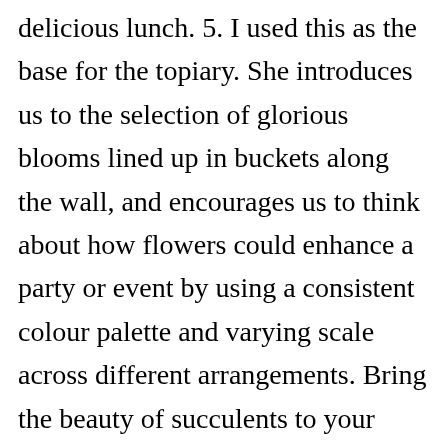delicious lunch. 5. I used this as the base for the topiary. She introduces us to the selection of glorious blooms lined up in buckets along the wall, and encourages us to think about how flowers could enhance a party or event by using a consistent colour palette and varying scale across different arrangements. Bring the beauty of succulents to your holiday table with a miniature Christmas tree filled with the pastel plants. How To Create a Rosemary Tree Topiary Step 1: Find the Form. Next I add some moss to the base of the pot, pressing it into place to cover the concrete which holds the wooden trunk in place. To make sure it was stable, I glued around the hole to prevent the tree from leaning. Next Georgia demonstrates how to build up the shape of the tree head, starting off with cut lengths of foliage and gradually building up to create a perfectly rounded sphere. This succulent topiary was created by the designers at Rambo Nursery, an exclusive grower for The Home Depot. And